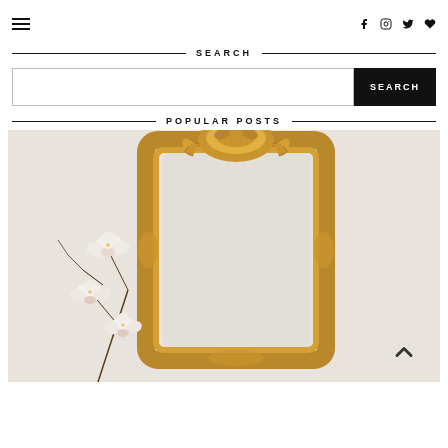Navigation menu and social icons (Facebook, Instagram, Twitter, Heart)
SEARCH
Search input field with SEARCH button
POPULAR POSTS
[Figure (photo): An ornate gold baroque-style mirror with white orchid flowers in front, against a white background]